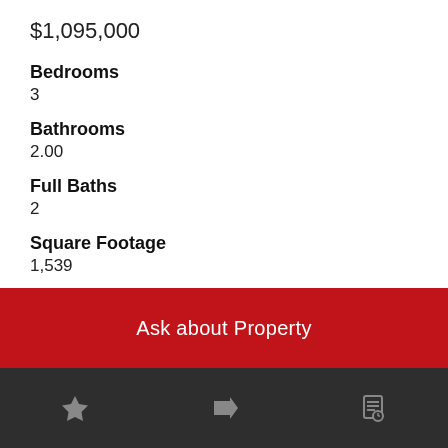$1,095,000
Bedrooms
3
Bathrooms
2.00
Full Baths
2
Square Footage
1,539
Acres
0.15
Ask about Property